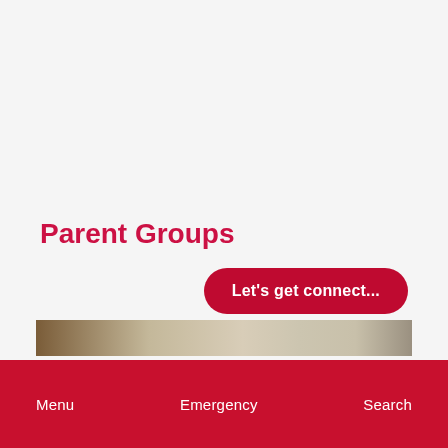Parent Groups
Let's get connect...
[Figure (photo): Horizontal photo strip showing people in a warm-toned indoor setting, cropped to a thin strip]
Menu   Emergency   Search